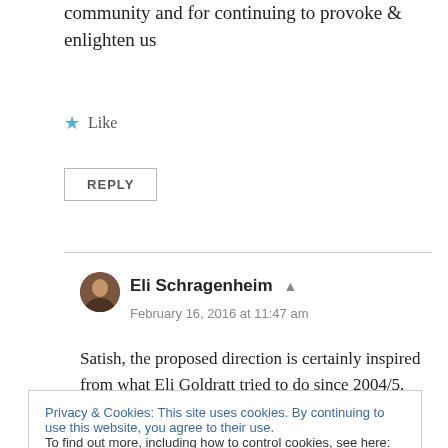community and for continuing to provoke & enlighten us
Like
REPLY
Eli Schragenheim
February 16, 2016 at 11:47 am
Satish, the proposed direction is certainly inspired from what Eli Goldratt tried to do since 2004/5.
Privacy & Cookies: This site uses cookies. By continuing to use this website, you agree to their use.
To find out more, including how to control cookies, see here: Cookie Policy
Close and accept
practically blamed the consultants and looked for